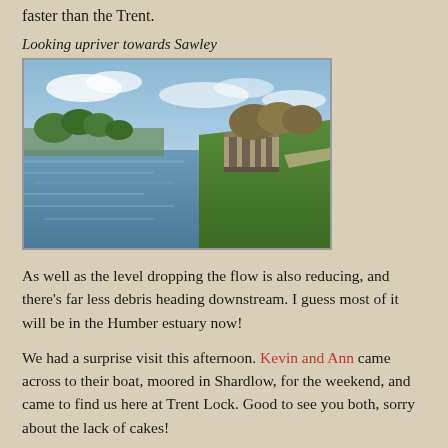faster than the Trent.
Looking upriver towards Sawley
[Figure (photo): A river scene looking upriver towards Sawley, with calm water reflecting the sky, a lock structure and grassy embankment on the right, trees in the background under a partly cloudy blue sky.]
As well as the level dropping the flow is also reducing, and there's far less debris heading downstream. I guess most of it will be in the Humber estuary now!
We had a surprise visit this afternoon. Kevin and Ann came across to their boat, moored in Shardlow, for the weekend, and came to find us here at Trent Lock. Good to see you both, sorry about the lack of cakes!